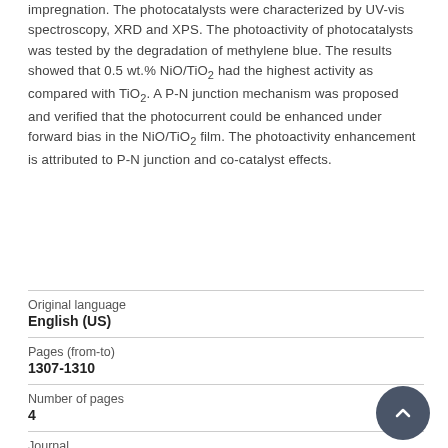impregnation. The photocatalysts were characterized by UV-vis spectroscopy, XRD and XPS. The photoactivity of photocatalysts was tested by the degradation of methylene blue. The results showed that 0.5 wt.% NiO/TiO2 had the highest activity as compared with TiO2. A P-N junction mechanism was proposed and verified that the photocurrent could be enhanced under forward bias in the NiO/TiO2 film. The photoactivity enhancement is attributed to P-N junction and co-catalyst effects.
Original language
English (US)
Pages (from-to)
1307-1310
Number of pages
4
Journal
Catalysis Communications